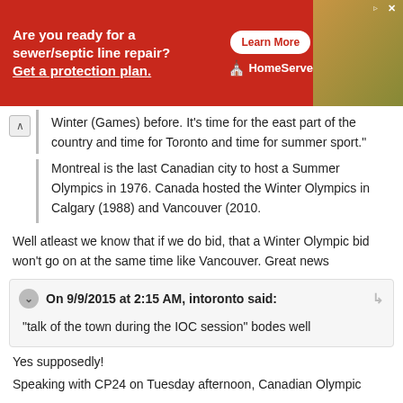[Figure (other): Red HomeServe advertisement banner. Text: 'Are you ready for a sewer/septic line repair? Get a protection plan.' with a 'Learn More' button and HomeServe logo. Workers in background.]
Winter (Games) before. It's time for the east part of the country and time for Toronto and time for summer sport."
Montreal is the last Canadian city to host a Summer Olympics in 1976. Canada hosted the Winter Olympics in Calgary (1988) and Vancouver (2010.
Well atleast we know that if we do bid, that a Winter Olympic bid won't go on at the same time like Vancouver. Great news
On 9/9/2015 at 2:15 AM, intoronto said:
"talk of the town during the IOC session" bodes well
Yes supposedly!
Speaking with CP24 on Tuesday afternoon, Canadian Olympic